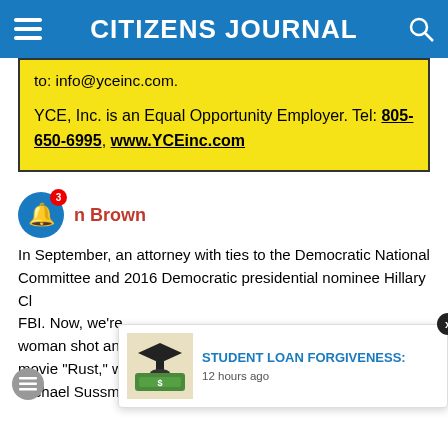CITIZENS JOURNAL
to: info@yceinc.com.
YCE, Inc. is an Equal Opportunity Employer. Tel: 805-650-6995, www.YCEinc.com
n Brown
In September, an attorney with ties to the Democratic National Committee and 2016 Democratic presidential nominee Hillary Clinton... FBI. Now, we're ... woman shot and ... movie "Rust," was the wife of an attorney that's representing Michael Sussman, who is the attorney that was indicted for
[Figure (screenshot): Student Loan Forgiveness ad overlay with graduation cap and money image, 12 hours ago]